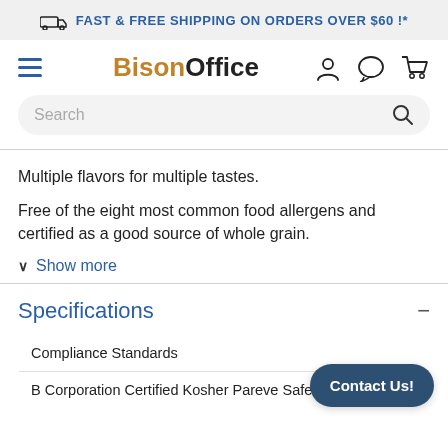FAST & FREE SHIPPING ON ORDERS OVER $60 !*
[Figure (logo): BisonOffice logo with hamburger menu, user icon, chat icon, and cart icon]
Search
Multiple flavors for multiple tastes.
Free of the eight most common food allergens and certified as a good source of whole grain.
Show more
Specifications
| Compliance Standards |
| --- |
| B Corporation Certified Kosher Pareve Safe Quality |